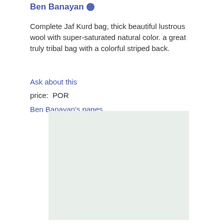Ben Banayan
Complete Jaf Kurd bag, thick beautiful lustrous wool with super-saturated natural color. a great truly tribal bag with a colorful striped back.
Ask about this
price:  POR
Ben Banayan's pages
[Figure (photo): Light green/mint colored rectangular image placeholder area, likely showing a Jaf Kurd bag]